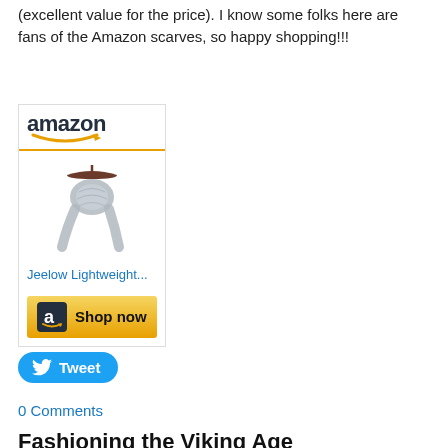(excellent value for the price).  I know some folks here are fans of the Amazon scarves, so happy shopping!!!
[Figure (other): Amazon affiliate widget showing the Amazon logo with orange smile, a grey lightweight scarf hanging on a hanger, product link 'Jeelow Lightweight...', and a 'Shop now' button with Amazon icon.]
[Figure (other): Twitter Tweet button (blue rounded pill shape with bird icon and 'Tweet' text)]
0 Comments
Fashioning the Viking Age